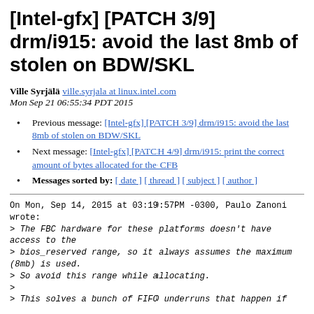[Intel-gfx] [PATCH 3/9] drm/i915: avoid the last 8mb of stolen on BDW/SKL
Ville Syrjälä ville.syrjala at linux.intel.com
Mon Sep 21 06:55:34 PDT 2015
Previous message: [Intel-gfx] [PATCH 3/9] drm/i915: avoid the last 8mb of stolen on BDW/SKL
Next message: [Intel-gfx] [PATCH 4/9] drm/i915: print the correct amount of bytes allocated for the CFB
Messages sorted by: [ date ] [ thread ] [ subject ] [ author ]
On Mon, Sep 14, 2015 at 03:19:57PM -0300, Paulo Zanoni wrote:
> The FBC hardware for these platforms doesn't have access to the
> bios_reserved range, so it always assumes the maximum (8mb) is used.
> So avoid this range while allocating.
>
> This solves a bunch of FIFO underruns that happen if